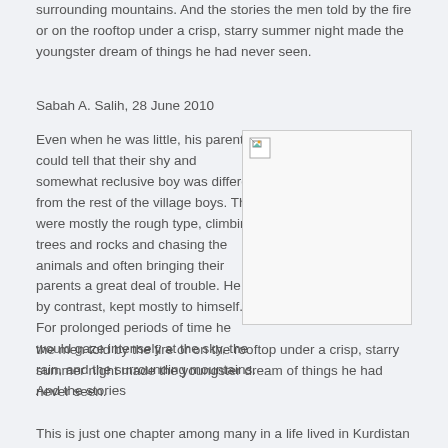surrounding mountains.  And the stories the men told by the fire or on the rooftop under a crisp, starry summer night made the youngster dream of things he had never seen.
Sabah A. Salih, 28 June 2010
[Figure (photo): A placeholder image with a broken image icon in the upper left corner, set within a rectangular bordered box.]
Even when he was little, his parents could tell that their shy and somewhat reclusive boy was different from the rest of the village boys.  They were mostly the rough type, climbing trees and rocks and chasing the animals and often bringing their parents a great deal of trouble.  He, by contrast, kept mostly to himself. For prolonged periods of time he would gaze intensely at the sky, the rain, and the surrounding mountains.  And the stories the men told by the fire or on the rooftop under a crisp, starry summer night made the youngster dream of things he had never seen.
This is just one chapter among many in a life lived in Kurdistan that continues to define the Kurdish-Canadian poet Jalal Barzanji, the recipient of Edmonton's first Writer-in-Exile Award: Mr.